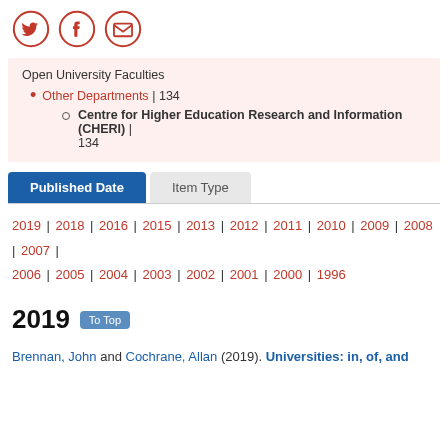[Figure (logo): Three social media icons: Twitter bird, Facebook f, and envelope/email, all in orange-red color, each in a circle outline.]
Open University Faculties
Other Departments | 134
Centre for Higher Education Research and Information (CHERI) | 134
Published Date  Item Type
2019 | 2018 | 2016 | 2015 | 2013 | 2012 | 2011 | 2010 | 2009 | 2008 | 2007 | 2006 | 2005 | 2004 | 2003 | 2002 | 2001 | 2000 | 1996
2019
Brennan, John and Cochrane, Allan (2019). Universities: in, of, and